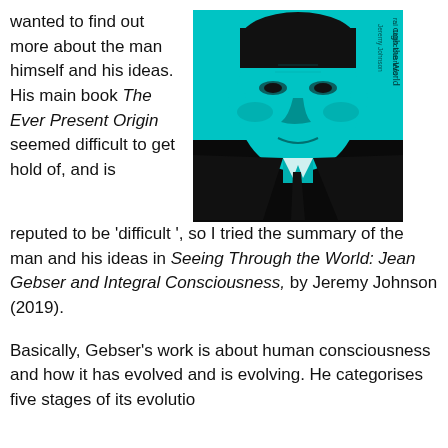wanted to find out more about the man himself and his ideas. His main book The Ever Present Origin seemed difficult to get hold of, and is reputed to be 'difficult', so I tried the summary of the man and his ideas in Seeing Through the World: Jean Gebser and Integral Consciousness, by Jeremy Johnson (2019).
[Figure (illustration): Book cover of 'Seeing Through the World: Jean Gebser and Integral Consciousness' by Jeremy Johnson. Shows a man's face in a high-contrast teal/cyan and black duotone style, wearing a suit and tie. Text on the right side reads 'ugh the World' and 'ral Consciousness' (partial) and 'Jeremy Johnson'.]
Basically, Gebser's work is about human consciousness and how it has evolved and is evolving. He categorises five stages of its evolution...